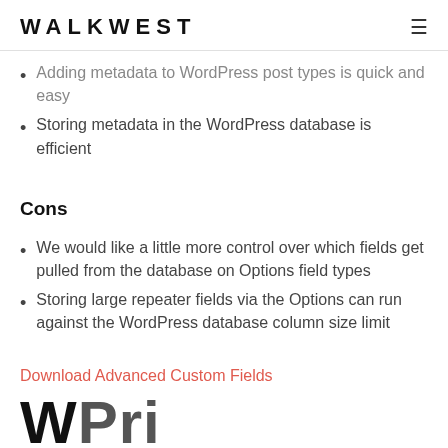WALKWEST
Adding metadata to WordPress post types is quick and easy
Storing metadata in the WordPress database is efficient
Cons
We would like a little more control over which fields get pulled from the database on Options field types
Storing large repeater fields via the Options can run against the WordPress database column size limit
Download Advanced Custom Fields
WPri